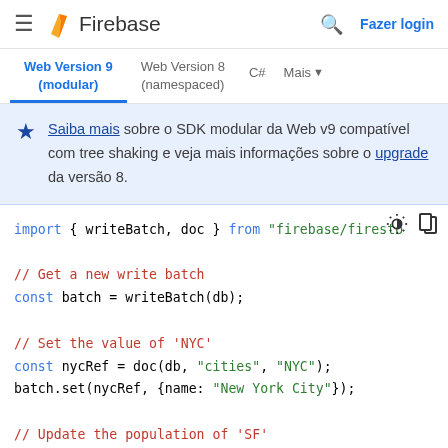Firebase - Web Version 9 (modular) | Web Version 8 (namespaced) | C# | Mais
Saiba mais sobre o SDK modular da Web v9 compatível com tree shaking e veja mais informações sobre o upgrade da versão 8.
[Figure (screenshot): Firebase documentation code block showing JavaScript Firestore batch write operations using writeBatch, doc, batch.set, and batch.update methods.]